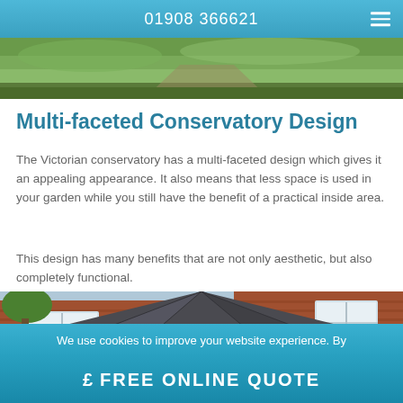01908 366621
[Figure (photo): Partial view of a garden path or driveway with green grass, seen from above]
Multi-faceted Conservatory Design
The Victorian conservatory has a multi-faceted design which gives it an appealing appearance. It also means that less space is used in your garden while you still have the benefit of a practical inside area.
This design has many benefits that are not only aesthetic, but also completely functional.
[Figure (photo): Exterior photo of a conservatory roof (dark grey tiled, multi-faceted) attached to a red brick house, with white windows visible and cloudy sky background]
We use cookies to improve your website experience. By
£ FREE ONLINE QUOTE